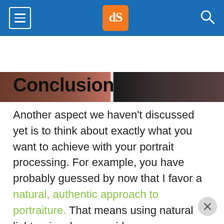dPS (digital Photography School) navigation header with hamburger menu, logo, and search icon
[Figure (photo): Partial photograph strip showing a portrait image divided by a white vertical line, left side warm brown skin tones, right side dark tones]
Conclusion
Another aspect we haven't discussed yet is to think about exactly what you want to achieve with your portrait processing. For example, you have probably guessed by now that I favor a natural, authentic approach to portraiture. That means using natural light, prime lenses, wide